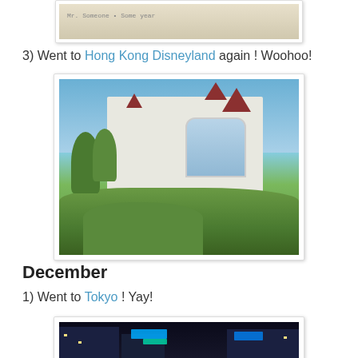[Figure (photo): Top partial photo of a document or paper, cropped at top of page]
3) Went to Hong Kong Disneyland again ! Woohoo!
[Figure (photo): Photo of Hong Kong Disneyland hotel building with ornate white facade, red rooftops, large windows, surrounded by manicured hedges and tropical trees under blue sky]
December
1) Went to Tokyo ! Yay!
[Figure (photo): Night photo of Tokyo city street with illuminated buildings, neon signs, and urban scenery]